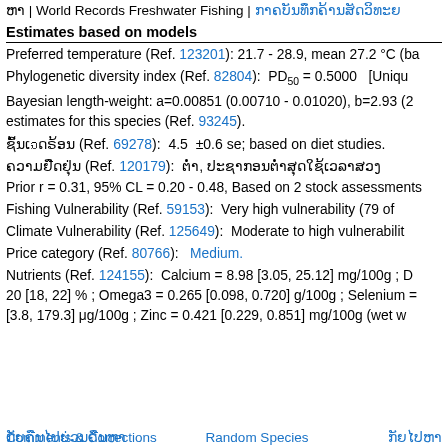ຫາ | World Records Freshwater Fishing | ກາຄບັນທຶກຄ້ານສັດວິທະຍາ
Estimates based on models
Preferred temperature (Ref. 123201): 21.7 - 28.9, mean 27.2 °C (ba
Phylogenetic diversity index (Ref. 82804):  PD₅₀ = 0.5000   [Uniqu
Bayesian length-weight: a=0.00851 (0.00710 - 0.01020), b=2.93 (2... estimates for this species (Ref. 93245).
ຊົ້ນເຉດຣ້ອນ (Ref. 69278):  4.5  ±0.6 se; based on diet studies.
ຄວາມຢືດຢຸ່ນ (Ref. 120179):  ຕໍ່າ, ປະຊາກອນຕ່ຳສຸດໃຊ້ເວລາສວງ
Prior r = 0.31, 95% CL = 0.20 - 0.48, Based on 2 stock assessments
Fishing Vulnerability (Ref. 59153):  Very high vulnerability (79 of
Climate Vulnerability (Ref. 125649):  Moderate to high vulnerabilit
Price category (Ref. 80766):   Medium.
Nutrients (Ref. 124155):  Calcium = 8.98 [3.05, 25.12] mg/100g ; D... 20 [18, 22] % ; Omega3 = 0.265 [0.098, 0.720] g/100g ; Selenium = ... [3.8, 179.3] μg/100g ; Zinc = 0.421 [0.229, 0.851] mg/100g (wet w
Comments & Corrections | ກັຍຄືນໄປຍ່ວນຄືນຫາ | Random Species | ກັຍໄປຫາ